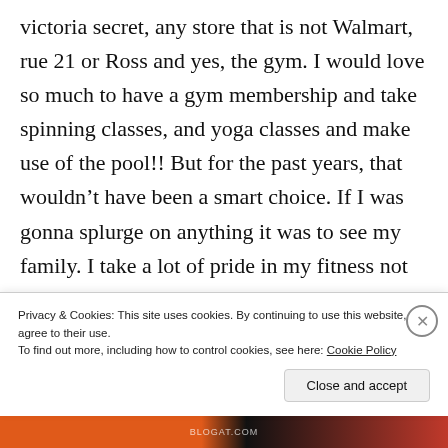victoria secret, any store that is not Walmart, rue 21 or Ross and yes, the gym. I would love so much to have a gym membership and take spinning classes, and yoga classes and make use of the pool!! But for the past years, that wouldn't have been a smart choice. If I was gonna splurge on anything it was to see my family. I take a lot of pride in my fitness not ever making use of a gym. As a runner, I'm lucky that my sport requires just a couple good running shoes. I
Privacy & Cookies: This site uses cookies. By continuing to use this website, you agree to their use.
To find out more, including how to control cookies, see here: Cookie Policy
Close and accept